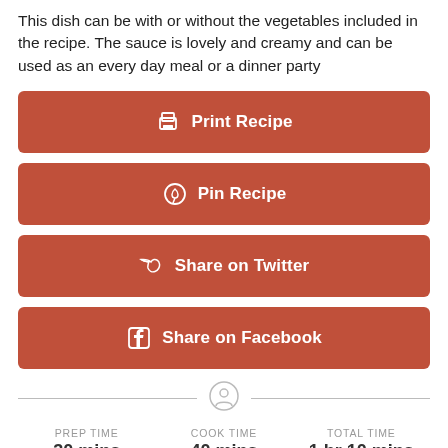This dish can be with or without the vegetables included in the recipe. The sauce is lovely and creamy and can be used as an every day meal or a dinner party
[Figure (other): Print Recipe button (terracotta/rust colored rounded rectangle with printer icon and white text)]
[Figure (other): Pin Recipe button (terracotta/rust colored rounded rectangle with Pinterest icon and white text)]
[Figure (other): Share on Twitter button (terracotta/rust colored rounded rectangle with Twitter bird icon and white text)]
[Figure (other): Share on Facebook button (terracotta/rust colored rounded rectangle with Facebook icon and white text)]
PREP TIME 30 mins | COOK TIME 40 mins | TOTAL TIME 1 hr 10 mins